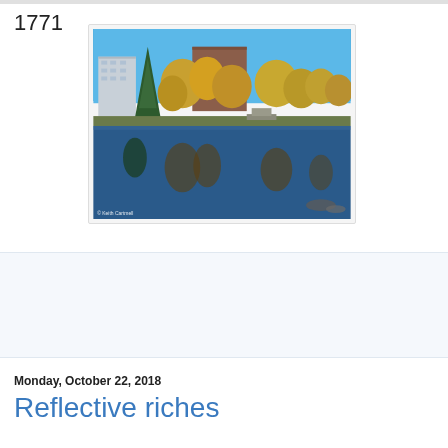1771
[Figure (photo): Outdoor autumn scene: trees with yellow/orange fall foliage and a green conifer reflected in a calm lake or pond. Buildings visible in the background. Blue sky. Photo credit: © Keith Cartmell]
No comments:
Share
Monday, October 22, 2018
Reflective riches